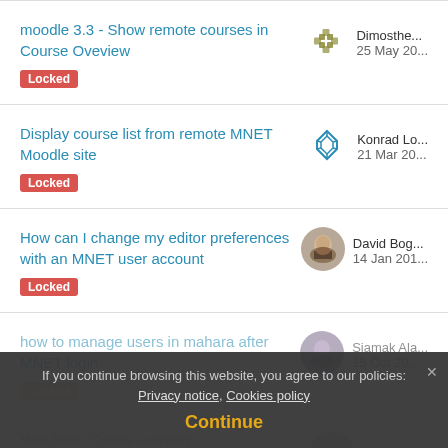moodle 3.3 - Show remote courses in Course Oveview
Locked
Dimosthe...
25 May 20...
Display course list from remote MNET Moodle site
Locked
Konrad Lo...
21 Mar 20...
How can I change my editor preferences with an MNET user account
Locked
David Bog...
14 Jan 201...
how to manage users in mahara after MNET login
Locked
Siamak Ala...
15 Oct 20...
Mnet blank "Course summary"...
Ethan Kw...
If you continue browsing this website, you agree to our policies: Privacy notice, Cookies policy
Continue